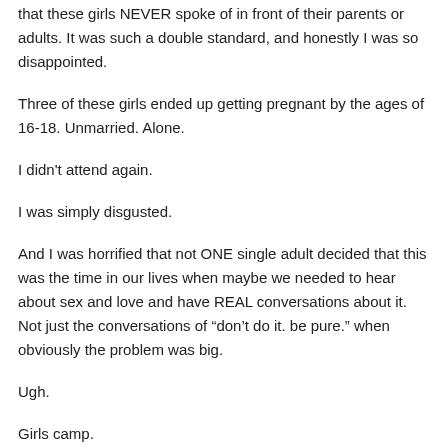that these girls NEVER spoke of in front of their parents or adults. It was such a double standard, and honestly I was so disappointed.
Three of these girls ended up getting pregnant by the ages of 16-18. Unmarried. Alone.
I didn't attend again.
I was simply disgusted.
And I was horrified that not ONE single adult decided that this was the time in our lives when maybe we needed to hear about sex and love and have REAL conversations about it. Not just the conversations of “don’t do it. be pure.” when obviously the problem was big.
Ugh.
Girls camp.
Reply